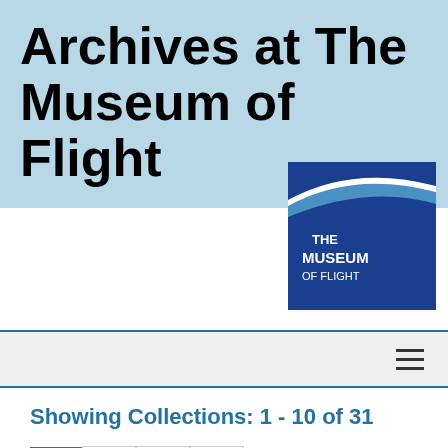Archives at The Museum of Flight
[Figure (logo): The Museum of Flight logo — dark blue square with a white curved swoosh/arc shape at top and white text reading THE MUSEUM OF FLIGHT]
Showing Collections: 1 - 10 of 31
1 2 3 4